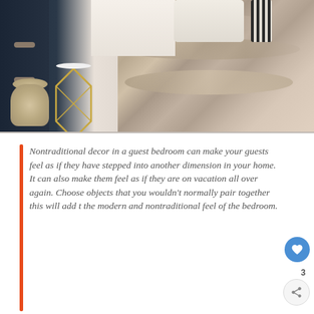[Figure (photo): A bedroom photo showing a fur throw blanket on a bed with white linens, a gold geometric side table with a white marble top, a woven basket with lid, and a dark dresser in the background. Various pillows including a striped one are visible.]
Nontraditional decor in a guest bedroom can make your guests feel as if they have stepped into another dimension in your home. It can also make them feel as if they are on vacation all over again. Choose objects that you wouldn't normally pair together this will add t the modern and nontraditional feel of the bedroom.